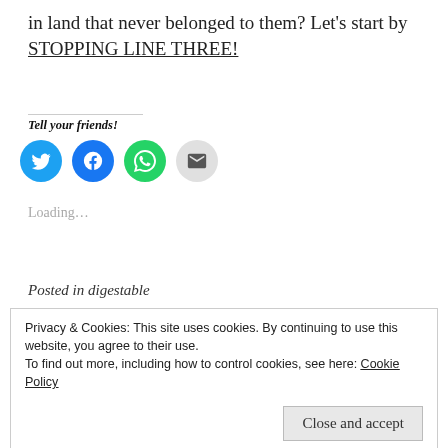in land that never belonged to them? Let's start by STOPPING LINE THREE!
Tell your friends!
[Figure (infographic): Four social share icon buttons: Twitter (blue circle), Facebook (blue circle), WhatsApp (green circle), Email (grey circle)]
Loading…
Posted in digestable
Privacy & Cookies: This site uses cookies. By continuing to use this website, you agree to their use.
To find out more, including how to control cookies, see here: Cookie Policy
Close and accept